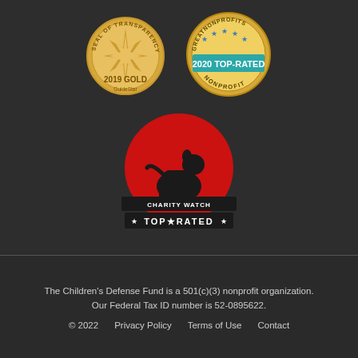[Figure (logo): GuideStar 2019 Gold Seal of Transparency badge]
[Figure (logo): GreatNonprofits 2020 Top-Rated Nonprofit badge]
[Figure (logo): CharityWatch Top-Rated badge with dog silhouette and red circle]
The Children's Defense Fund is a 501(c)(3) nonprofit organization. Our Federal Tax ID number is 52-0895622.
© 2022    Privacy Policy    Terms of Use    Contact